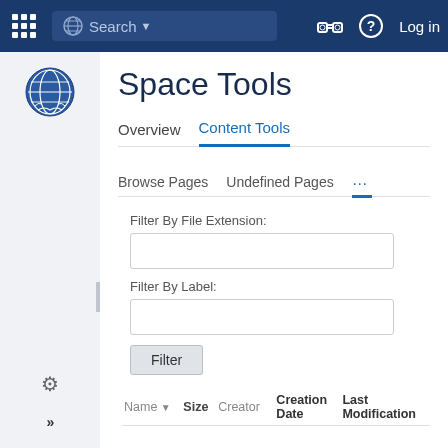[Figure (screenshot): Top navigation bar with grid icon, search bar with globe icon, binoculars icon, question mark icon, and Log in text]
[Figure (logo): United Nations emblem/globe logo in sidebar]
Space Tools
Overview   Content Tools
Browse Pages   Undefined Pages   ...
Filter By File Extension:
Filter By Label:
Filter
| Name ▼ | Size | Creator | Creation Date | Last Modification |
| --- | --- | --- | --- | --- |